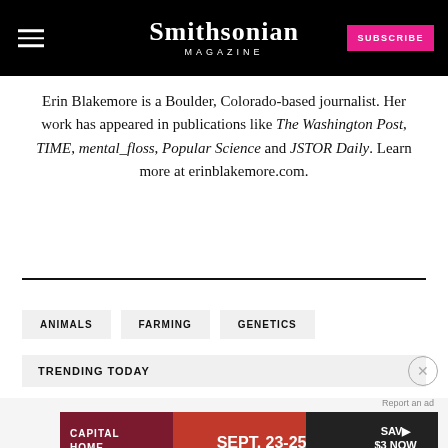Smithsonian Magazine
Erin Blakemore is a Boulder, Colorado-based journalist. Her work has appeared in publications like The Washington Post, TIME, mental_floss, Popular Science and JSTOR Daily. Learn more at erinblakemore.com.
ANIMALS
FARMING
GENETICS
TRENDING TODAY
[Figure (other): Advertisement banner: Capital Home Show SEPT. 23-25 Dulles Expo Center SAV $3 NOW CLICK HERE]